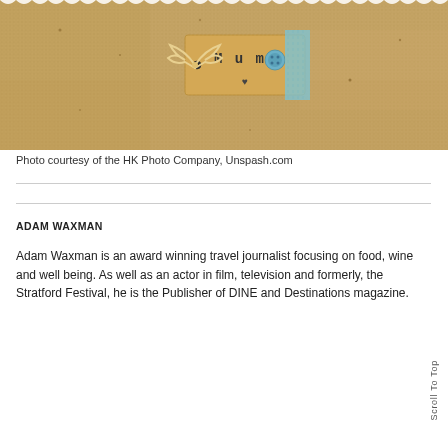[Figure (photo): Close-up photograph of a burlap/hessian fabric background with a kraft paper gift tag reading 'Mum' with a heart symbol, decorated with a blue lace/washi tape strip and a blue button, tied with a cream ribbon bow.]
Photo courtesy of the HK Photo Company, Unspash.com
ADAM WAXMAN
Adam Waxman is an award winning travel journalist focusing on food, wine and well being. As well as an actor in film, television and formerly, the Stratford Festival, he is the Publisher of DINE and Destinations magazine.